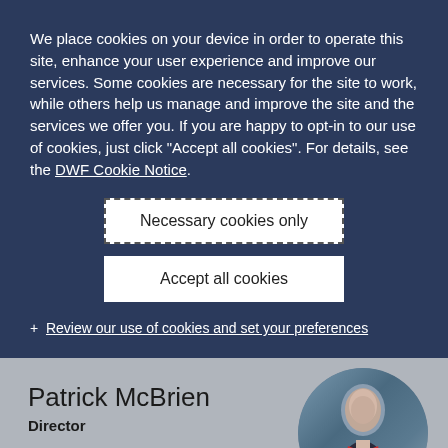We place cookies on your device in order to operate this site, enhance your user experience and improve our services. Some cookies are necessary for the site to work, while others help us manage and improve the site and the services we offer you. If you are happy to opt-in to our use of cookies, just click "Accept all cookies". For details, see the DWF Cookie Notice.
Necessary cookies only
Accept all cookies
+ Review our use of cookies and set your preferences
Patrick McBrien
Director
[Figure (photo): Circular headshot photo of Patrick McBrien, a man in a dark suit with a red tie, against a blurred background.]